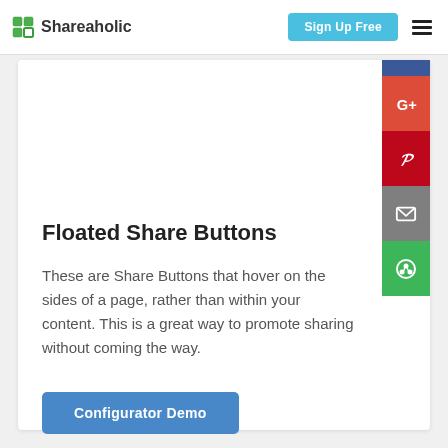Shareaholic | Sign Up Free
[Figure (infographic): Floated social share buttons on the right side of a card: Facebook (blue), Google+ (red), Pinterest (red), Email (gray), Shareaholic (green)]
Floated Share Buttons
These are Share Buttons that hover on the sides of a page, rather than within your content. This is a great way to promote sharing without coming the way.
Configurator Demo